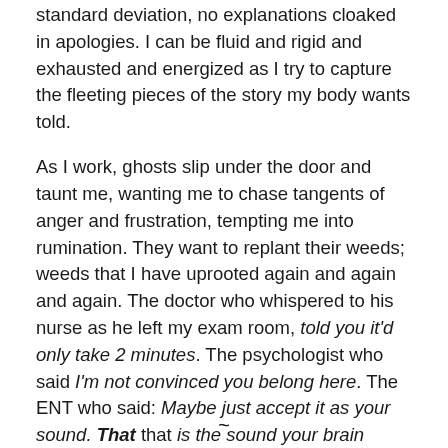standard deviation, no explanations cloaked in apologies. I can be fluid and rigid and exhausted and energized as I try to capture the fleeting pieces of the story my body wants told.
As I work, ghosts slip under the door and taunt me, wanting me to chase tangents of anger and frustration, tempting me into rumination. They want to replant their weeds; weeds that I have uprooted again and again and again. The doctor who whispered to his nurse as he left my exam room, told you it'd only take 2 minutes. The psychologist who said I'm not convinced you belong here. The ENT who said: Maybe just accept it as your sound. That that is the sound your brain makes. The clatter of the keyboard, the watery rhythm of the music, or the sound that my brain makes pushes these spirits out of my room.